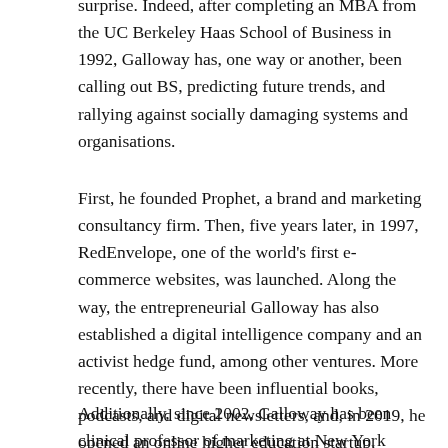surprise. Indeed, after completing an MBA from the UC Berkeley Haas School of Business in 1992, Galloway has, one way or another, been calling out BS, predicting future trends, and rallying against socially damaging systems and organisations.
First, he founded Prophet, a brand and marketing consultancy firm. Then, five years later, in 1997, RedEnvelope, one of the world's first e-commerce websites, was launched. Along the way, the entrepreneurial Galloway has also established a digital intelligence company and an activist hedge fund, among other ventures. More recently, there have been influential books, podcasts, and digital newsletters, and, in 2019, he opened an online higher education startup, Section4.
Additionally, since 2002, Galloway has been clinical professor of marketing at New York University Stern...